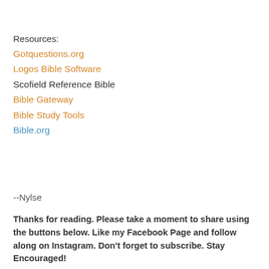Resources:
Gotquestions.org
Logos Bible Software
Scofield Reference Bible
Bible Gateway
Bible Study Tools
Bible.org
--Nylse
Thanks for reading. Please take a moment to share using the buttons below. Like my Facebook Page and follow along on Instagram. Don't forget to subscribe. Stay Encouraged!
LifenotesEncouragement at 4:30 AM   Share